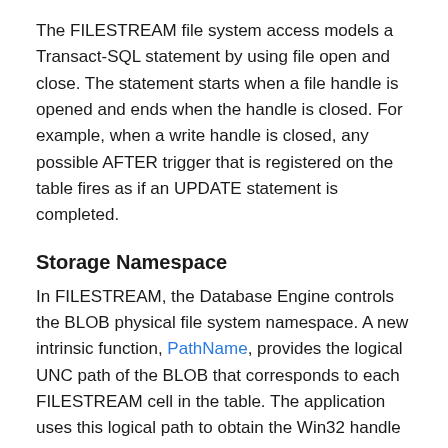The FILESTREAM file system access models a Transact-SQL statement by using file open and close. The statement starts when a file handle is opened and ends when the handle is closed. For example, when a write handle is closed, any possible AFTER trigger that is registered on the table fires as if an UPDATE statement is completed.
Storage Namespace
In FILESTREAM, the Database Engine controls the BLOB physical file system namespace. A new intrinsic function, PathName, provides the logical UNC path of the BLOB that corresponds to each FILESTREAM cell in the table. The application uses this logical path to obtain the Win32 handle and operate on the BLOB data by using regular Win32 file system interfaces. The function returns NULL if the value of the FILESTREAM column is NULL.